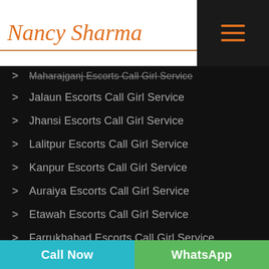Nancy Sharma
Maharajganj Escorts Call Girl Service
Jalaun Escorts Call Girl Service
Jhansi Escorts Call Girl Service
Lalitpur Escorts Call Girl Service
Kanpur Escorts Call Girl Service
Auraiya Escorts Call Girl Service
Etawah Escorts Call Girl Service
Farrukhabad Escorts Call Girl Service
Kannauj Escorts Call Girl Service
Call Now | WhatsApp